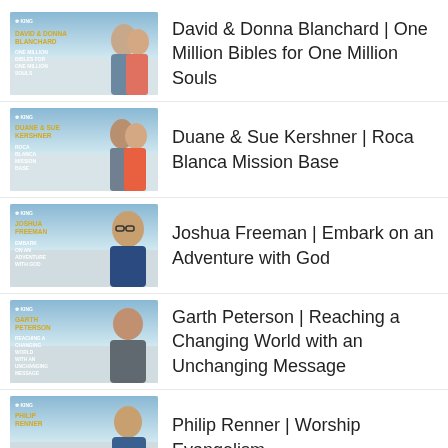David & Donna Blanchard | One Million Bibles for One Million Souls
Duane & Sue Kershner | Roca Blanca Mission Base
Joshua Freeman | Embark on an Adventure with God
Garth Peterson | Reaching a Changing World with an Unchanging Message
Philip Renner | Worship Evangelism